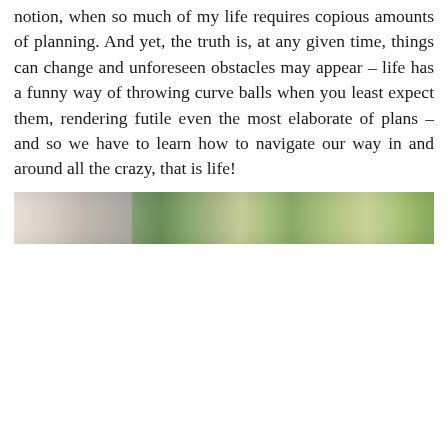notion, when so much of my life requires copious amounts of planning. And yet, the truth is, at any given time, things can change and unforeseen obstacles may appear – life has a funny way of throwing curve balls when you least expect them, rendering futile even the most elaborate of plans – and so we have to learn how to navigate our way in and around all the crazy, that is life!
[Figure (photo): A horizontal photo strip showing an outdoor scene with trees and greenery on the right portion and a lighter/interior scene on the left portion.]